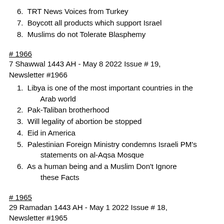6. TRT News Voices from Turkey
7. Boycott all products which support Israel
8. Muslims do not Tolerate Blasphemy
# 1966
7 Shawwal 1443 AH - May 8 2022 Issue # 19, Newsletter #1966
1. Libya is one of the most important countries in the Arab world
2. Pak-Taliban brotherhood
3. Will legality of abortion be stopped
4. Eid in America
5. Palestinian Foreign Ministry condemns Israeli PM's statements on al-Aqsa Mosque
6. As a human being and a Muslim Don't Ignore these Facts
# 1965
29 Ramadan 1443 AH - May 1 2022 Issue # 18, Newsletter #1965
1. Moon sighting is required for Eid
2. Imran Supporters Desecrated Islamic Sanctities in Masjid Nabawi
3. The Kashmir Files: Mothers and…